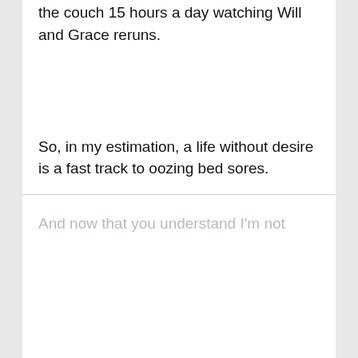the couch 15 hours a day watching Will and Grace reruns.
So, in my estimation, a life without desire is a fast track to oozing bed sores.
And now that you understand I'm not